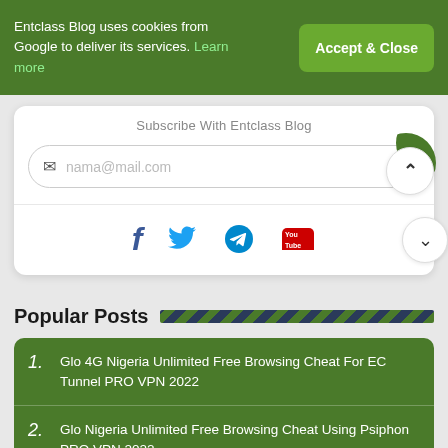Entclass Blog uses cookies from Google to deliver its services. Learn more
Accept & Close
Subscribe With Entclass Blog
nama@mail.com
[Figure (screenshot): Social media icons: Facebook, Twitter, Telegram, YouTube]
Popular Posts
1. Glo 4G Nigeria Unlimited Free Browsing Cheat For EC Tunnel PRO VPN 2022
2. Glo Nigeria Unlimited Free Browsing Cheat Using Psiphon PRO VPN 2022
3. Glo SlowDNS Unlimited Free Browsing Cheat For EC Tunnel PRO